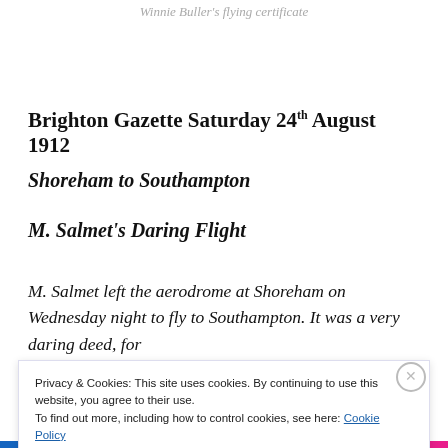Winnie Buller's flying certificate
Brighton Gazette Saturday 24th August 1912
Shoreham to Southampton
M. Salmet's Daring Flight
M. Salmet left the aerodrome at Shoreham on Wednesday night to fly to Southampton. It was a very daring deed, for
Privacy & Cookies: This site uses cookies. By continuing to use this website, you agree to their use.
To find out more, including how to control cookies, see here: Cookie Policy